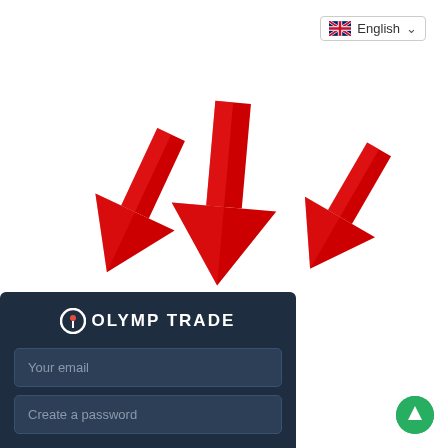[Figure (screenshot): Language selector dropdown showing English with UK flag and chevron arrow]
[Figure (illustration): Three large red 3D downward-pointing arrows arranged horizontally across the page]
[Figure (screenshot): Olymp Trade signup panel with dark navy background, logo, email input field, and password input field]